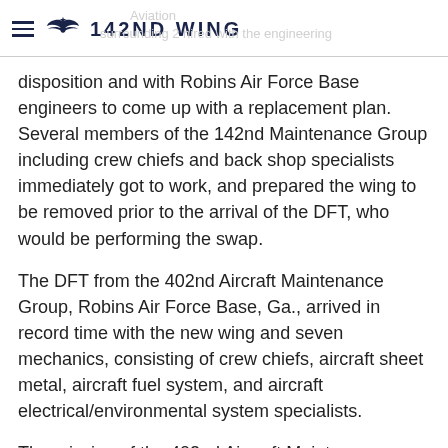142ND WING
disposition and with Robins Air Force Base engineers to come up with a replacement plan. Several members of the 142nd Maintenance Group including crew chiefs and back shop specialists immediately got to work, and prepared the wing to be removed prior to the arrival of the DFT, who would be performing the swap.
The DFT from the 402nd Aircraft Maintenance Group, Robins Air Force Base, Ga., arrived in record time with the new wing and seven mechanics, consisting of crew chiefs, aircraft sheet metal, aircraft fuel system, and aircraft electrical/environmental system specialists.
The mission of the 402nd Aircraft Maintenance Group is to provide Programmed Depot Maintenance and unscheduled repair activities on F-15, C-130, C-5 and C-